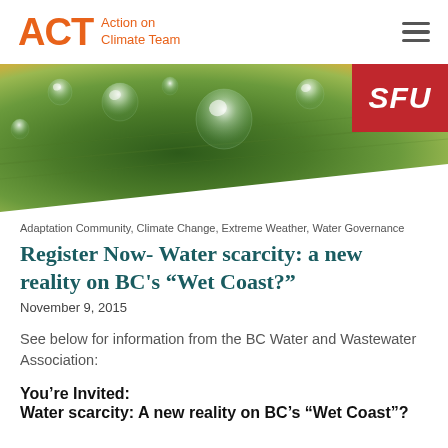ACT Action on Climate Team
[Figure (photo): Close-up photo of water droplets on a green leaf surface with SFU logo badge in top right corner]
Adaptation Community, Climate Change, Extreme Weather, Water Governance
Register Now- Water scarcity: a new reality on BC's “Wet Coast?”
November 9, 2015
See below for information from the BC Water and Wastewater Association:
You’re Invited:
Water scarcity: A new reality on BC’s “Wet Coast”?